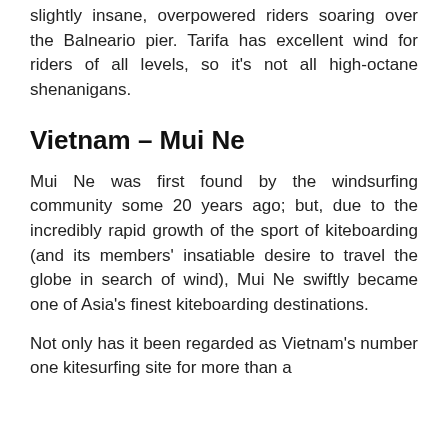slightly insane, overpowered riders soaring over the Balneario pier. Tarifa has excellent wind for riders of all levels, so it's not all high-octane shenanigans.
Vietnam – Mui Ne
Mui Ne was first found by the windsurfing community some 20 years ago; but, due to the incredibly rapid growth of the sport of kiteboarding (and its members' insatiable desire to travel the globe in search of wind), Mui Ne swiftly became one of Asia's finest kiteboarding destinations.
Not only has it been regarded as Vietnam's number one kitesurfing site for more than a